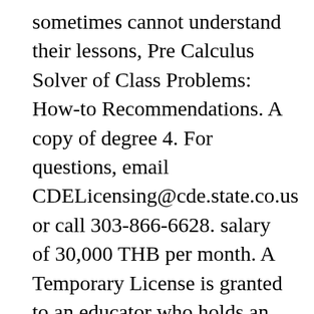sometimes cannot understand their lessons, Pre Calculus Solver of Class Problems: How-to Recommendations. A copy of degree 4. For questions, email CDELicensing@cde.state.co.us or call 303-866-6628. salary of 30,000 THB per month. A Temporary License is granted to an educator who holds an out-of-state license and has taught for three years. The teacher and district must complete and document that ALL requirements have been met to renew the Temporary Authorization Certificate. Nonrenewable. temporary teaching license florida provides a comprehensive and comprehensive pathway for students to see